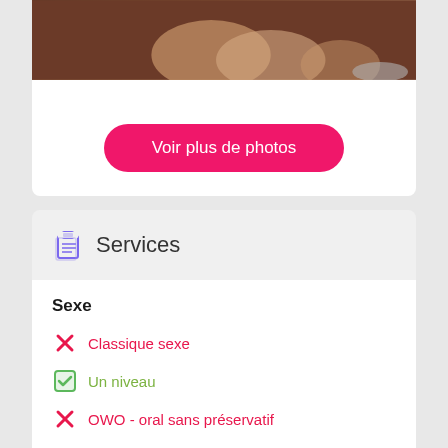[Figure (photo): Partial view of legs/feet with high heels on dark background]
Voir plus de photos
Services
Sexe
Classique sexe
Un niveau
OWO - oral sans préservatif
Sexe en groupe
Double pénétration
Jouets
Fétiche